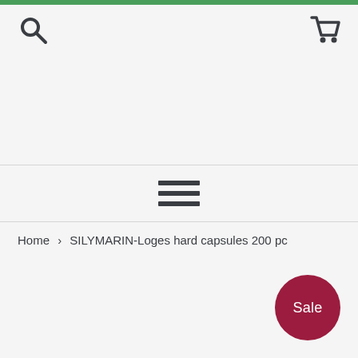[Figure (other): Search icon (magnifying glass) in top left of header]
[Figure (other): Shopping cart icon in top right of header]
[Figure (other): Hamburger menu icon (three horizontal lines) centered in navigation bar]
Home > SILYMARIN-Loges hard capsules 200 pc
Sale